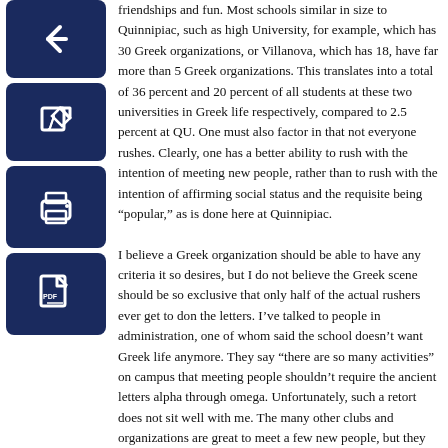[Figure (other): Dark navy blue icon buttons on the left side: back arrow, edit/pencil, print, and PDF document icons]
friendships and fun. Most schools similar in size to Quinnipiac, such as high University, for example, which has 30 Greek organizations, or Villanova, which has 18, have far more than 5 Greek organizations. This translates into a total of 36 percent and 20 percent of all students at these two universities in Greek life respectively, compared to 2.5 percent at QU. One must also factor in that not everyone rushes. Clearly, one has a better ability to rush with the intention of meeting new people, rather than to rush with the intention of affirming social status and the requisite being “popular,” as is done here at Quinnipiac.

I believe a Greek organization should be able to have any criteria it so desires, but I do not believe the Greek scene should be so exclusive that only half of the actual rushers ever get to don the letters. I’ve talked to people in administration, one of whom said the school doesn’t want Greek life anymore. They say “there are so many activities” on campus that meeting people shouldn’t require the ancient letters alpha through omega. Unfortunately, such a retort does not sit well with me. The many other clubs and organizations are great to meet a few new people, but they do not help form as strong social circles as Greek organizations do. The lack of more Greek options, I feel, is what fosters the ultra-exclusivity and thus the rigorous, and sometimes shallow criteria to be in one. This results the exclusion of many amiable, intelligent, and able people from ever achieving their social goals, which can affect mood, self esteem, or academic performance. It also increases the gradient of the social hierarchy, a trait which is not good for any campus.